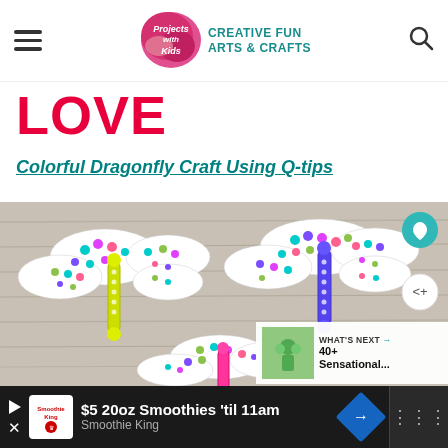Projects with Kids — CREATIVE FUN ARTS & CRAFTS
LOVE
Colorful Dragonfly Craft Using Q-tips
[Figure (photo): Photo of colorful dragonfly crafts made with Q-tips on a wooden surface background, showing three dragonfly crafts decorated with colorful dot patterns using Q-tips as bodies. Social share buttons (heart and share icons) visible. 'WHAT'S NEXT' overlay with '40+ Sensational...' thumbnail visible at bottom right.]
$5 20oz Smoothies 'til 11am — Smoothie King advertisement